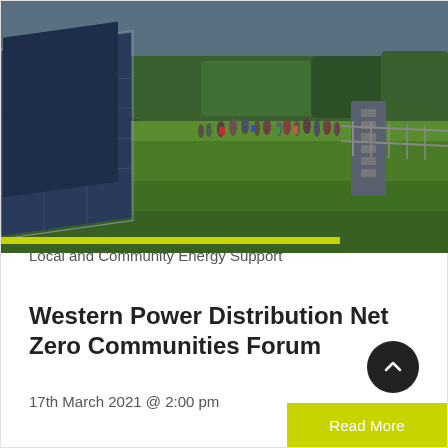[Figure (photo): Group of people walking between rows of solar panels in a green grassy field with trees in the background on a cloudy day.]
Local and Community Energy Support
Western Power Distribution Net Zero Communities Forum
17th March 2021 @ 2:00 pm
Read More